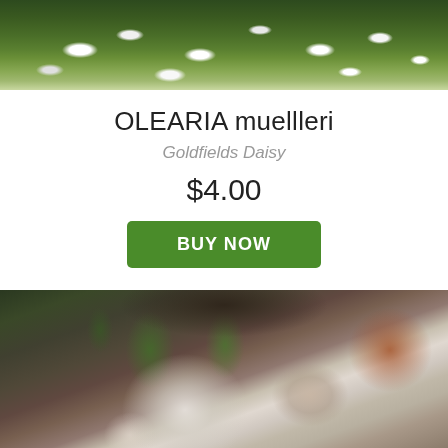[Figure (photo): Top partial photo of Olearia muellleri plant with white daisy-like flowers against dark green foliage background]
OLEARIA muellleri
Goldfields Daisy
$4.00
BUY NOW
[Figure (photo): Close-up photo of Olearia muellleri (Goldfields Daisy) flower with white petals and small bud, against blurred dark brown and green background]